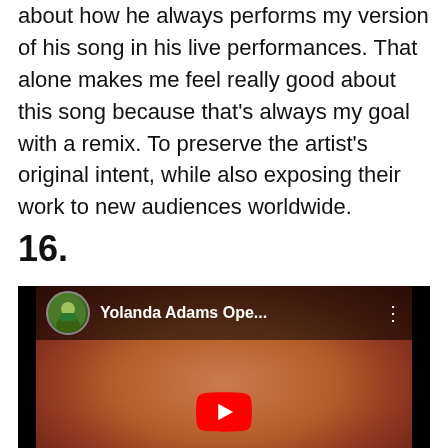about how he always performs my version of his song in his live performances. That alone makes me feel really good about this song because that's always my goal with a remix. To preserve the artist's original intent, while also exposing their work to new audiences worldwide.
16.
[Figure (screenshot): YouTube video thumbnail showing a woman with brown layered hair and hoop earrings. The video top bar shows a circular avatar of a person outdoors and the title 'Yolanda Adams Ope...' with a three-dot menu icon. A YouTube play button is visible at the bottom center.]